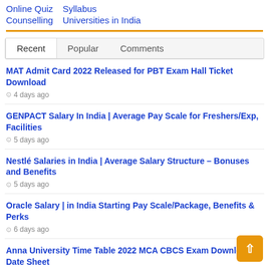Online Quiz   Syllabus
Counselling   Universities in India
Recent   Popular   Comments
MAT Admit Card 2022 Released for PBT Exam Hall Ticket Download
4 days ago
GENPACT Salary In India | Average Pay Scale for Freshers/Exp, Facilities
5 days ago
Nestlé Salaries in India | Average Salary Structure – Bonuses and Benefits
5 days ago
Oracle Salary | in India Starting Pay Scale/Package, Benefits & Perks
6 days ago
Anna University Time Table 2022 MCA CBCS Exam Download Date Sheet